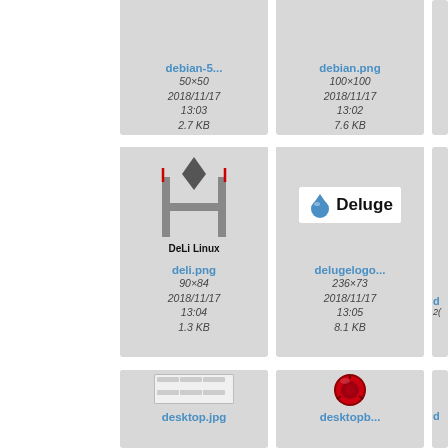[Figure (screenshot): File browser thumbnail grid showing image files: debian-5... (50×50, 2018/11/17 13:03, 2.7 KB), debian.png (100×100, 2018/11/17 13:02, 7.6 KB), deli.png (90×84, 2018/11/17 13:04, 1.3 KB) with DeLi Linux logo, delugelogo... (236×73, 2018/11/17 13:05, 8.1 KB) with Deluge logo, desktop.jpg thumbnail, desktopb..., and partial right-edge cells.]